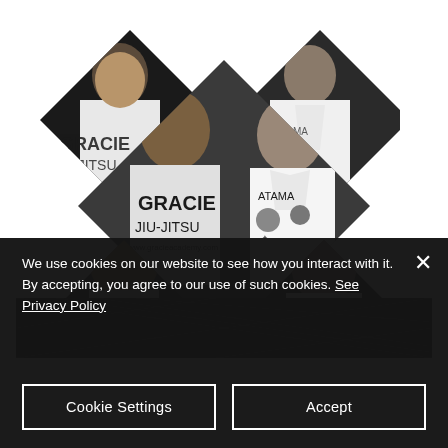[Figure (photo): Black and white photo of two men posing together. The man on the left wears a white Gracie Jiu-Jitsu t-shirt. The man on the right wears a white martial arts gi with patches. The photo is displayed inside overlapping diamond/rhombus shaped frames arranged in an X pattern.]
[Figure (photo): Partial black and white image strip showing what appears to be a chain-link fence (MMA octagon cage).]
We use cookies on our website to see how you interact with it. By accepting, you agree to our use of such cookies. See Privacy Policy
Cookie Settings
Accept